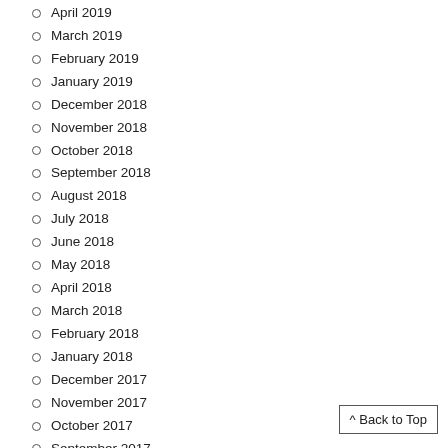April 2019
March 2019
February 2019
January 2019
December 2018
November 2018
October 2018
September 2018
August 2018
July 2018
June 2018
May 2018
April 2018
March 2018
February 2018
January 2018
December 2017
November 2017
October 2017
September 2017
August 2017
July 2017
June 2017
May 2017
April 2017
^ Back to Top